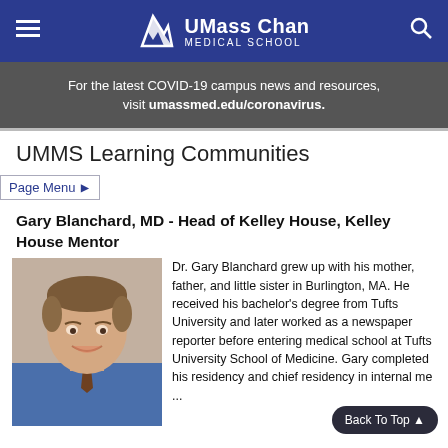UMass Chan Medical School
For the latest COVID-19 campus news and resources, visit umassmed.edu/coronavirus.
UMMS Learning Communities
Page Menu
Gary Blanchard, MD - Head of Kelley House, Kelley House Mentor
[Figure (photo): Headshot photo of Dr. Gary Blanchard, a man with brown hair smiling, wearing a blue shirt and tie.]
Dr. Gary Blanchard grew up with his mother, father, and little sister in Burlington, MA. He received his bachelor's degree from Tufts University and later worked as a newspaper reporter before entering medical school at Tufts University School of Medicine. Gary completed his residency and chief residency in internal medicine at Saint Vincent Hospital (SVH) in Worcester and